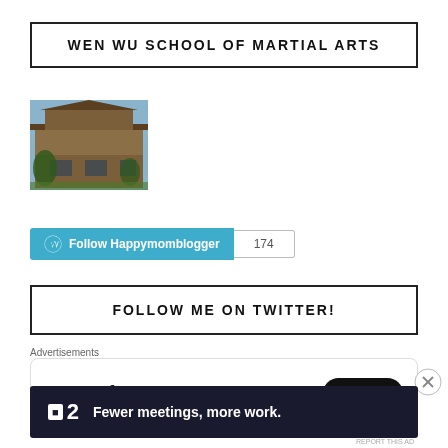WEN WU SCHOOL OF MARTIAL ARTS
[Figure (photo): Photo of a brick building exterior, likely a school or martial arts studio]
Follow Happymomblogger 174
FOLLOW ME ON TWITTER!
Tweets from
Advertisements
Fewer meetings, more work.